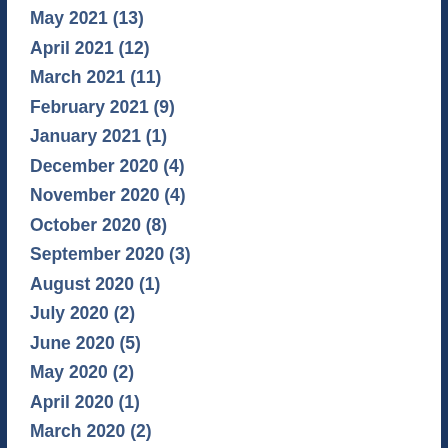May 2021 (13)
April 2021 (12)
March 2021 (11)
February 2021 (9)
January 2021 (1)
December 2020 (4)
November 2020 (4)
October 2020 (8)
September 2020 (3)
August 2020 (1)
July 2020 (2)
June 2020 (5)
May 2020 (2)
April 2020 (1)
March 2020 (2)
February 2020 (3)
January 2020 (3)
November 2019 (7)
October 2019 (1)
September 2019 (2)
August 2019 (5)
July 2019 (5)